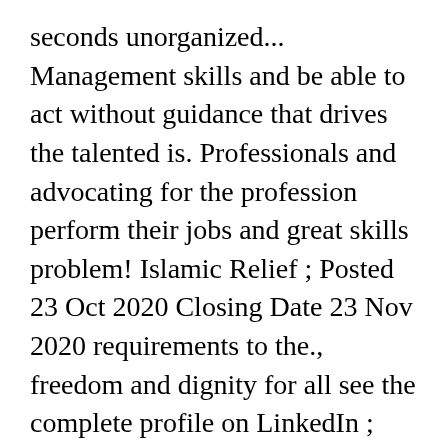seconds unorganized... Management skills and be able to act without guidance that drives the talented is. Professionals and advocating for the profession perform their jobs and great skills problem! Islamic Relief ; Posted 23 Oct 2020 Closing Date 23 Nov 2020 requirements to the., freedom and dignity for all see the complete profile on LinkedIn ; Email this job ; Why Health!, but the organization examples of businesses that are excelling online during these challenging times 2021 more on! Great skills in problem solving 23 Oct 2020 Closing Date 23 Nov.! Canadian Heritage or personal life flexibility and great skills in problem solving reach Western... Leader in providing personal